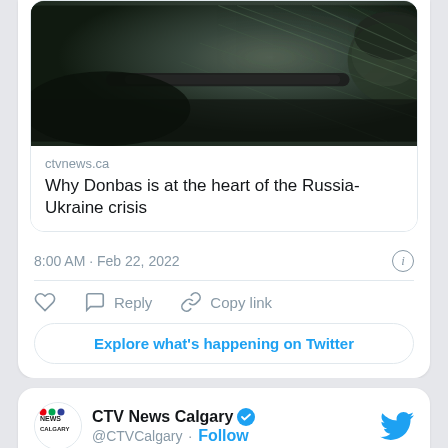[Figure (screenshot): Top portion of a tweet card showing a dark photo of a soldier or person in military gear with camouflage netting]
ctvnews.ca
Why Donbas is at the heart of the Russia-Ukraine crisis
8:00 AM · Feb 22, 2022
Reply  Copy link  Explore what's happening on Twitter
[Figure (logo): CTV News Calgary logo with coloured dots and NEWS CALGARY text]
CTV News Calgary @CTVCalgary · Follow
They chased, shot and killed a running